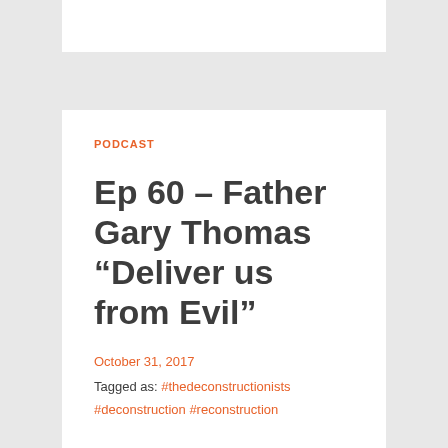PODCAST
Ep 60 – Father Gary Thomas “Deliver us from Evil”
October 31, 2017
Tagged as: #thedeconstructionists
#deconstruction #reconstruction